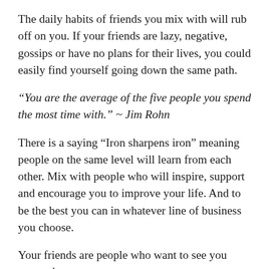The daily habits of friends you mix with will rub off on you. If your friends are lazy, negative, gossips or have no plans for their lives, you could easily find yourself going down the same path.
“You are the average of the five people you spend the most time with.” ~ Jim Rohn
There is a saying “Iron sharpens iron” meaning people on the same level will learn from each other. Mix with people who will inspire, support and encourage you to improve your life. And to be the best you can in whatever line of business you choose.
Your friends are people who want to see you succeed.